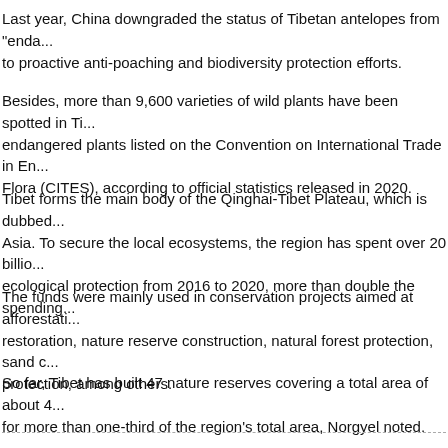Last year, China downgraded the status of Tibetan antelopes from "enda... to proactive anti-poaching and biodiversity protection efforts.
Besides, more than 9,600 varieties of wild plants have been spotted in Ti... endangered plants listed on the Convention on International Trade in En... Flora (CITES), according to official statistics released in 2020.
Tibet forms the main body of the Qinghai-Tibet Plateau, which is dubbed... Asia. To secure the local ecosystems, the region has spent over 20 billio... ecological protection from 2016 to 2020, more than double the spending...
The funds were mainly used in conservation projects aimed at afforestati... restoration, nature reserve construction, natural forest protection, sand c... protection, among others.
So far, Tibet has built 47 nature reserves covering a total area of about 4... for more than one-third of the region's total area, Norgyel noted.